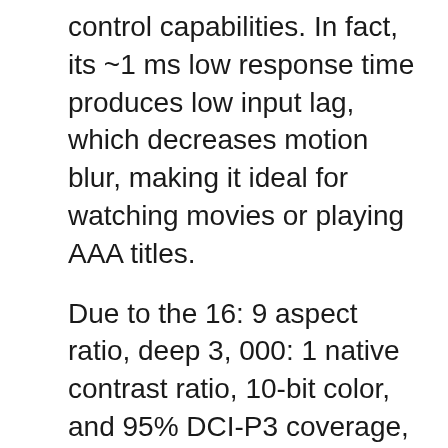control capabilities. In fact, its ~1 ms low response time produces low input lag, which decreases motion blur, making it ideal for watching movies or playing AAA titles.
Due to the 16: 9 aspect ratio, deep 3, 000: 1 native contrast ratio, 10-bit color, and 95% DCI-P3 coverage, it delivers vibrant and realistic image quality. And, its 4K resolution combined with HDR 10 at 32-inches will enhance your viewing experience.
The BenQ's EW3270U is one of the best 4K monitor under 500 because it features Brightness Intelligence Technology. It enables the monitor to adjust the display and contrast according to the environment. Also, it detects screen contrast and ambient